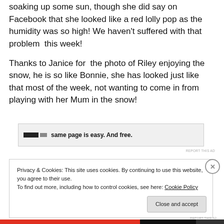soaking up some sun, though she did say on Facebook that she looked like a red lolly pop as the humidity was so high! We haven't suffered with that problem  this week!
Thanks to Janice for  the photo of Riley enjoying the snow, he is so like Bonnie, she has looked just like that most of the week, not wanting to come in from playing with her Mum in the snow!
[Figure (other): Advertisement banner with logo blocks and text 'same page is easy. And free.']
REPORT THIS AD
Privacy & Cookies: This site uses cookies. By continuing to use this website, you agree to their use.
To find out more, including how to control cookies, see here: Cookie Policy
Close and accept